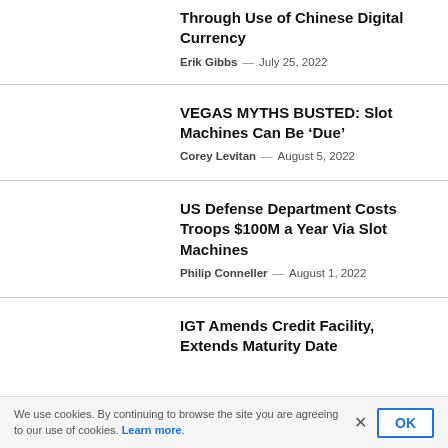Through Use of Chinese Digital Currency
Erik Gibbs — July 25, 2022
VEGAS MYTHS BUSTED: Slot Machines Can Be ‘Due’
Corey Levitan — August 5, 2022
US Defense Department Costs Troops $100M a Year Via Slot Machines
Philip Conneller — August 1, 2022
IGT Amends Credit Facility, Extends Maturity Date
We use cookies. By continuing to browse the site you are agreeing to our use of cookies. Learn more.